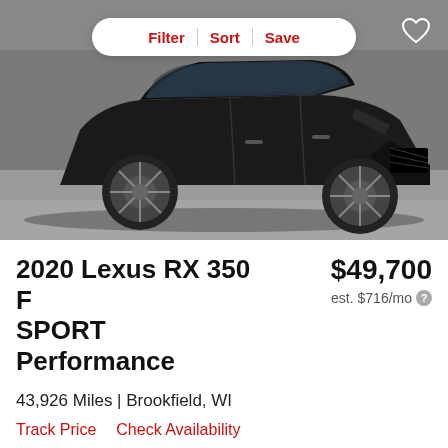[Figure (photo): Black 2020 Lexus RX 350 F SPORT Performance SUV parked in a showroom with gray floor and white wall background]
2020 Lexus RX 350 F SPORT Performance
$49,700
est. $716/mo
43,926 Miles | Brookfield, WI
Track Price
Check Availability
[Figure (screenshot): Advertisement banner showing Used 2019 Lexus NX with price info, description text and right arrow button]